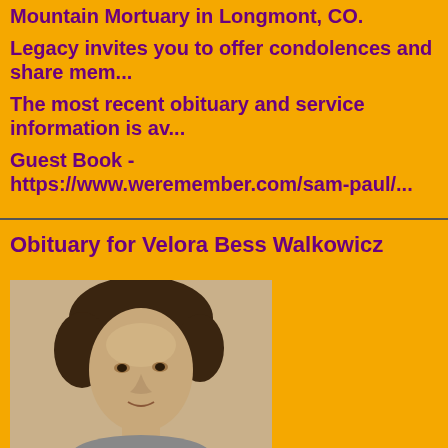Sam Paul's passing at the age of 76 on ... Mountain Mortuary in Longmont, CO.
Legacy invites you to offer condolences and share mem...
The most recent obituary and service information is av...
Guest Book - https://www.weremember.com/sam-paul/...
Obituary for Velora Bess Walkowicz
[Figure (photo): Sepia-toned portrait photograph of a woman with short dark hair, facing slightly left]